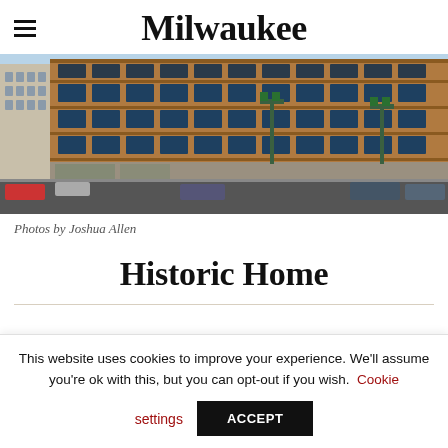Milwaukee
[Figure (photo): Street-level photograph of a large historic brick commercial/industrial building in Milwaukee, multiple stories with large factory-style windows, green street lights, intersection visible in foreground, blue sky.]
Photos by Joshua Allen
Historic Home
This website uses cookies to improve your experience. We'll assume you're ok with this, but you can opt-out if you wish. Cookie settings ACCEPT